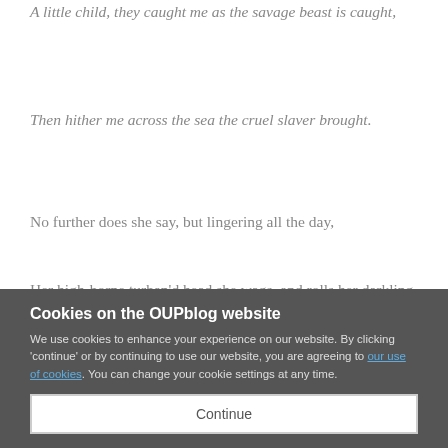A little child, they caught me as the savage beast is caught,
Then hither me across the sea the cruel slaver brought.
No further does she say, but lingering all the day,
Her high-borne turban'd head she wags, and rolls her darkling eye.
Cookies on the OUPblog website
We use cookies to enhance your experience on our website. By clicking 'continue' or by continuing to use our website, you are agreeing to our use of cookies. You can change your cookie settings at any time.
Continue